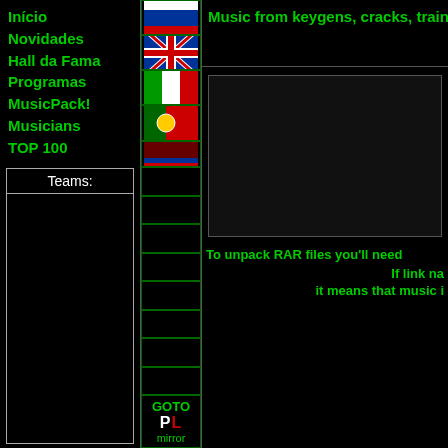Início
Novidades
Hall da Fama
Programas
MusicPack!
Musicians
TOP 100
Teams:
[Figure (other): Flag icons column: Russian flag, US/UK flag, Italian flag, Portuguese flag, and other flags with empty slots]
GOTO PL mirror
Music from keygens, cracks, trainers, i
To unpack RAR files you'll need
If link na
it means that music i